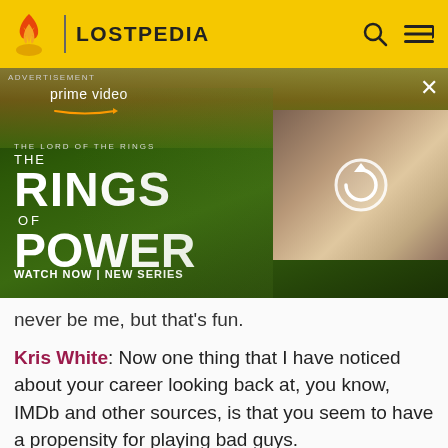LOSTPEDIA
[Figure (photo): Amazon Prime Video advertisement for 'The Lord of the Rings: The Rings of Power' showing two characters and the show title with 'WATCH NOW | NEW SERIES' text. A partially loaded secondary image shows a group of people with a refresh/reload icon.]
never be me, but that's fun.
Kris White: Now one thing that I have noticed about your career looking back at, you know, IMDb and other sources, is that you seem to have a propensity for playing bad guys.
M.C. Gainey: Yeah, I know. It's just an honest face, what can I tell you. You know, I got to Hollywood in 1977 and from the regional theater, and I played most of the great